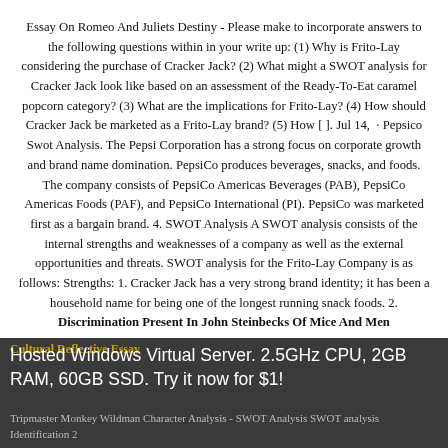Essay On Romeo And Juliets Destiny - Please make to incorporate answers to the following questions within in your write up: (1) Why is Frito-Lay considering the purchase of Cracker Jack? (2) What might a SWOT analysis for Cracker Jack look like based on an assessment of the Ready-To-Eat caramel popcorn category? (3) What are the implications for Frito-Lay? (4) How should Cracker Jack be marketed as a Frito-Lay brand? (5) How [ ]. Jul 14,  · Pepsico Swot Analysis. The Pepsi Corporation has a strong focus on corporate growth and brand name domination. PepsiCo produces beverages, snacks, and foods. The company consists of PepsiCo Americas Beverages (PAB), PepsiCo Americas Foods (PAF), and PepsiCo International (PI). PepsiCo was marketed first as a bargain brand. 4. SWOT Analysis A SWOT analysis consists of the internal strengths and weaknesses of a company as well as the external opportunities and threats. SWOT analysis for the Frito-Lay Company is as follows: Strengths: 1. Cracker Jack has a very strong brand identity; it has been a household name for being one of the longest running snack foods. 2. Discrimination Present In John Steinbecks Of Mice And Men
Cultural Reflective Essay
Hosted Windows Virtual Server. 2.5GHz CPU, 2GB RAM, 60GB SSD. Try it now for $1!
Tripmaster Monkey Wildman Character Analysis - SWOT Analysis SWOT analysis Identification 2